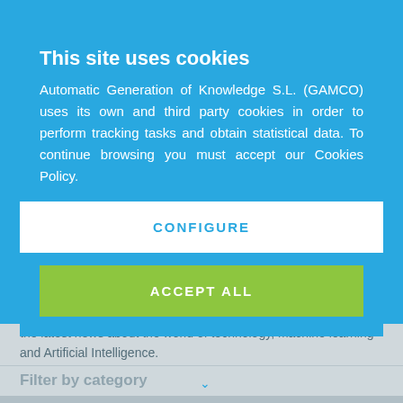This site uses cookies
Automatic Generation of Knowledge S.L. (GAMCO) uses its own and third party cookies in order to perform tracking tasks and obtain statistical data. To continue browsing you must accept our Cookies Policy.
CONFIGURE
ACCEPT ALL
the latest news about the world of technology, machine learning and Artificial Intelligence.
Filter by category